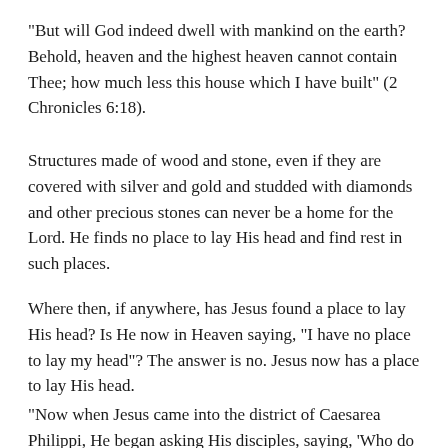“But will God indeed dwell with mankind on the earth? Behold, heaven and the highest heaven cannot contain Thee; how much less this house which I have built” (2 Chronicles 6:18).
Structures made of wood and stone, even if they are covered with silver and gold and studded with diamonds and other precious stones can never be a home for the Lord. He finds no place to lay His head and find rest in such places.
Where then, if anywhere, has Jesus found a place to lay His head? Is He now in Heaven saying, “I have no place to lay my head”? The answer is no. Jesus now has a place to lay His head.
“Now when Jesus came into the district of Caesarea Philippi, He began asking His disciples, saying, ‘Who do